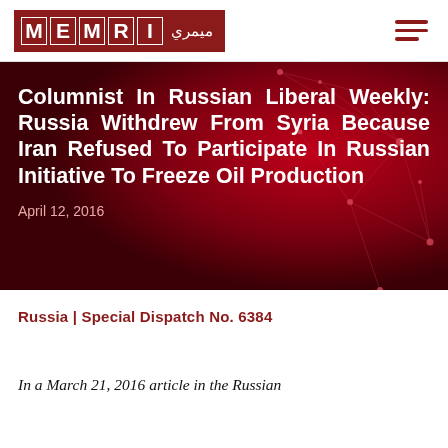MEMRI logo and navigation
Columnist In Russian Liberal Weekly: Russia Withdrew From Syria Because Iran Refused To Participate In Russian Initiative To Freeze Oil Production
April 12, 2016
Russia | Special Dispatch No. 6384
In a March 21, 2016 article in the Russian